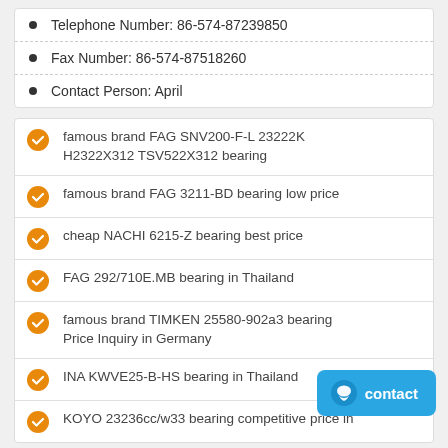Telephone Number: 86-574-87239850
Fax Number: 86-574-87518260
Contact Person: April
famous brand FAG SNV200-F-L 23222K H2322X312 TSV522X312 bearing
famous brand FAG 3211-BD bearing low price
cheap NACHI 6215-Z bearing best price
FAG 292/710E.MB bearing in Thailand
famous brand TIMKEN 25580-902a3 bearing Price Inquiry in Germany
INA KWVE25-B-HS bearing in Thailand
KOYO 23236cc/w33 bearing competitive price in